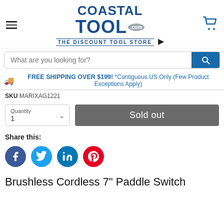[Figure (logo): Coastal Tool .com logo with tagline THE DISCOUNT TOOL STORE]
What are you looking for?
FREE SHIPPING OVER $199! *Contiguous US Only (Few Product Exceptions Apply)
SKU MARIXAG1221
Quantity 1
Sold out
Share this:
[Figure (illustration): Social media share icons: Facebook, Twitter, LinkedIn, Pinterest]
Brushless Cordless 7" Paddle Switch